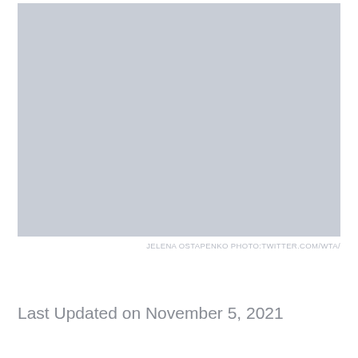[Figure (photo): A large rectangular photo placeholder with a light blue-gray solid color fill, representing a photo of Jelena Ostapenko.]
JELENA OSTAPENKO PHOTO:TWITTER.COM/WTA/
Last Updated on November 5, 2021